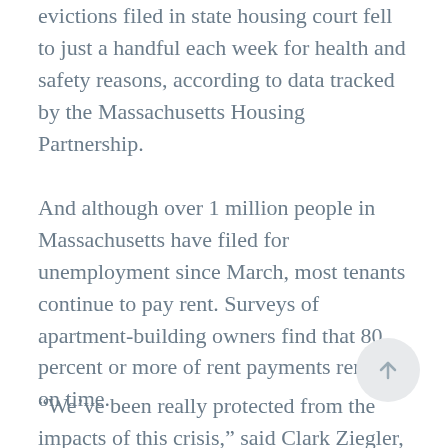evictions filed in state housing court fell to just a handful each week for health and safety reasons, according to data tracked by the Massachusetts Housing Partnership.
And although over 1 million people in Massachusetts have filed for unemployment since March, most tenants continue to pay rent. Surveys of apartment-building owners find that 80 percent or more of rent payments remain on time.
“We’ve been really protected from the impacts of this crisis,” said Clark Ziegler, executive director of the Massachusetts Housing Partnership, during a recent Boston Foundation webinar on the issue.